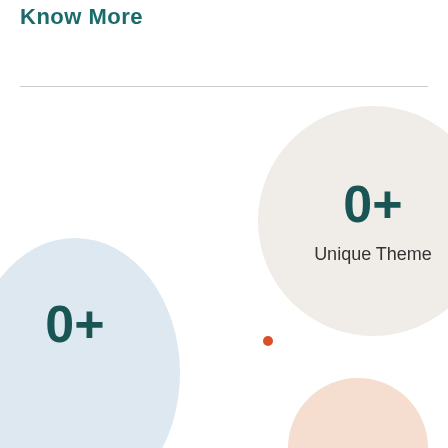Know More
[Figure (infographic): A large beige/off-white circle on the right side containing the text '0+' in large teal font and 'Unique Theme' below it in dark gray]
[Figure (infographic): A large light blue circle on the bottom-left partially cropped, containing '0+' in large teal font]
[Figure (infographic): A small orange/peach circle on the bottom-right partially cropped, with a small orange dot above it]